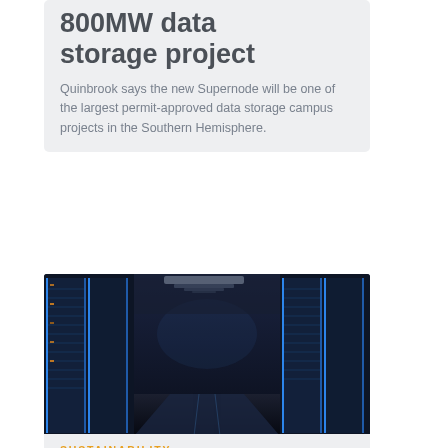800MW data storage project
Quinbrook says the new Supernode will be one of the largest permit-approved data storage campus projects in the Southern Hemisphere.
[Figure (photo): Interior of a data center showing rows of server racks illuminated with blue lighting, viewed down a long corridor with lighting strips on the ceiling.]
SUSTAINABILITY
ST Engineering launches cooling system for greener data centers